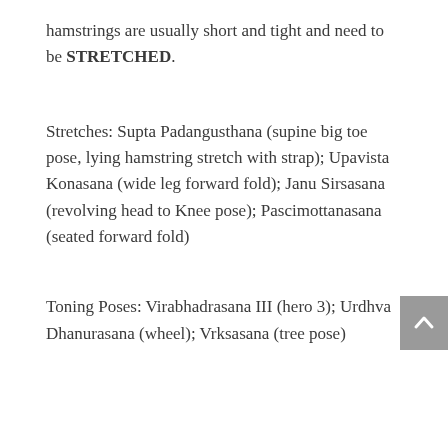hamstrings are usually short and tight and need to be STRETCHED.
Stretches: Supta Padangusthana (supine big toe pose, lying hamstring stretch with strap); Upavista Konasana (wide leg forward fold); Janu Sirsasana (revolving head to Knee pose); Pascimottanasana (seated forward fold)
Toning Poses: Virabhadrasana III (hero 3); Urdhva Dhanurasana (wheel); Vrksasana (tree pose)